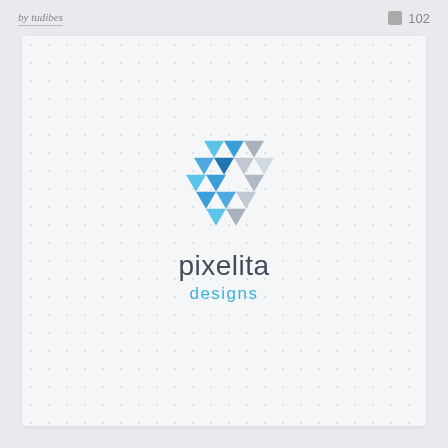by tudibes  102
[Figure (logo): Pixelita Designs logo: a geometric hexagonal P shape made of blue and grey triangular facets, above the text 'pixelita designs']